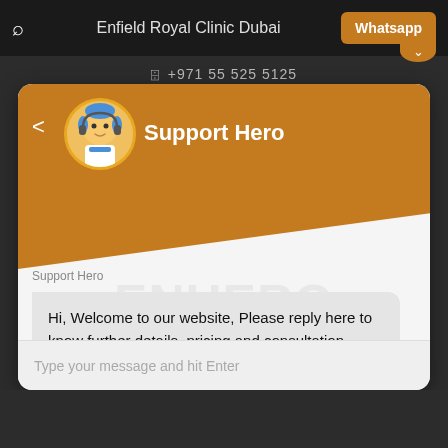Enfield Royal Clinic Dubai
+971 55 525 5125
[Figure (screenshot): Chat widget with Support Hero avatar, orange header with diagonal cutoff, and chat message bubble]
Support Hero
Hi, Welcome to our website, Please reply here to know further details, pricing and consultation.
Type your message and hit Enter